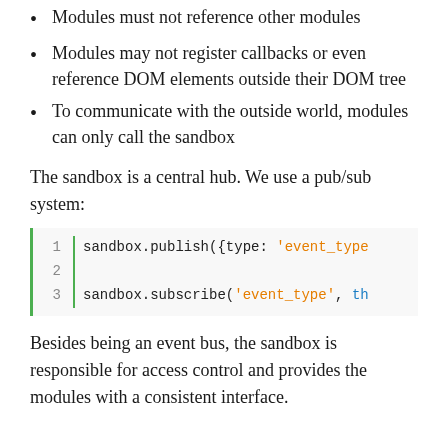Modules must not reference other modules
Modules may not register callbacks or even reference DOM elements outside their DOM tree
To communicate with the outside world, modules can only call the sandbox
The sandbox is a central hub. We use a pub/sub system:
[Figure (screenshot): Code block showing sandbox.publish({type: 'event_type' on line 1 and sandbox.subscribe('event_type', th on line 3]
Besides being an event bus, the sandbox is responsible for access control and provides the modules with a consistent interface.